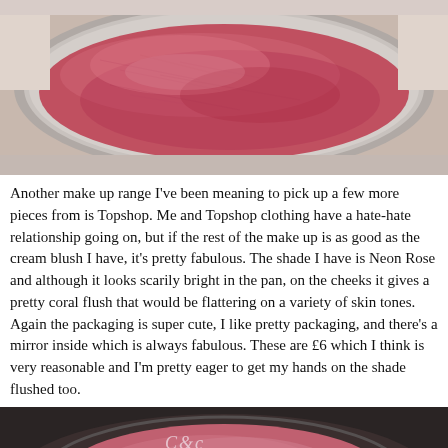[Figure (photo): Close-up photograph of an open cream blush compact showing a round pink/coral-red blush pan with a silver rim on a light background.]
Another make up range I've been meaning to pick up a few more pieces from is Topshop. Me and Topshop clothing have a hate-hate relationship going on, but if the rest of the make up is as good as the cream blush I have, it's pretty fabulous. The shade I have is Neon Rose and although it looks scarily bright in the pan, on the cheeks it gives a pretty coral flush that would be flattering on a variety of skin tones. Again the packaging is super cute, I like pretty packaging, and there's a mirror inside which is always fabulous. These are £6 which I think is very reasonable and I'm pretty eager to get my hands on the shade flushed too.
[Figure (photo): Close-up photograph of a dark compact (black lid with cursive script logo visible) containing a pink/rosy cream blush product, partially visible at the bottom of the page.]